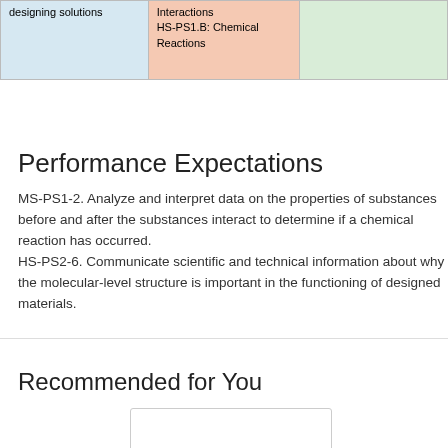|  |  |  |
| --- | --- | --- |
| designing solutions | Interactions
HS-PS1.B: Chemical Reactions |  |
Performance Expectations
MS-PS1-2. Analyze and interpret data on the properties of substances before and after the substances interact to determine if a chemical reaction has occurred.
HS-PS2-6. Communicate scientific and technical information about why the molecular-level structure is important in the functioning of designed materials.
Recommended for You